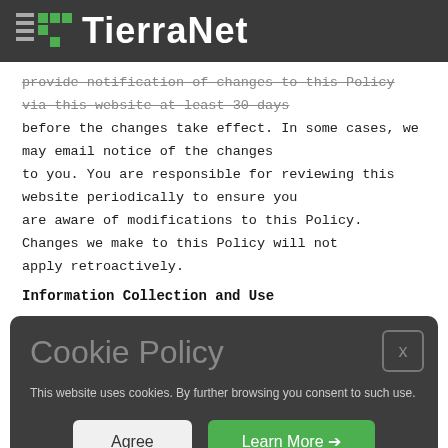TierraNet
provide notification of changes to this Policy via this website at least 30 days before the changes take effect. In some cases, we may email notice of the changes to you. You are responsible for reviewing this website periodically to ensure you are aware of modifications to this Policy. Changes we make to this Policy will not apply retroactively.
Information Collection and Use
[Figure (screenshot): Cookie Policy modal overlay with dark background. Title 'Cookie Policy' in large grey text with a close button [x] in top right. Body text: 'This website uses cookies. By further browsing you consent to such use.' Two buttons: 'Agree' (light) and 'Learn More →' (green).]